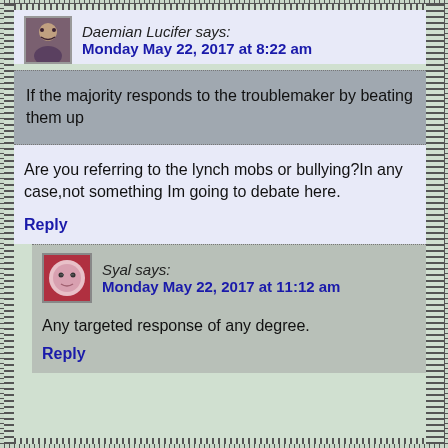Daemian Lucifer says: Monday May 22, 2017 at 8:22 am
If the majority responds to the troublemaker by beating them up
Are you referring to the lynch mobs or bullying?In any case,not something Im going to debate here.
Reply
Syal says: Monday May 22, 2017 at 11:12 am
Any targeted response of any degree.
Reply